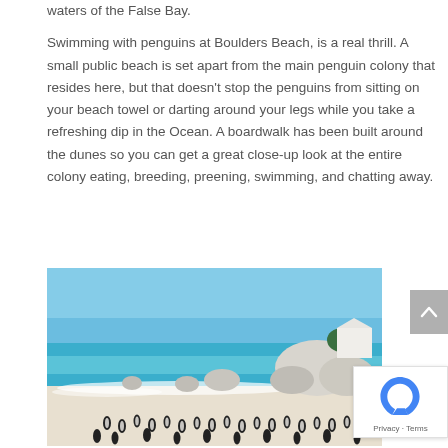waters of the False Bay.
Swimming with penguins at Boulders Beach, is a real thrill. A small public beach is set apart from the main penguin colony that resides here, but that doesn’t stop the penguins from sitting on your beach towel or darting around your legs while you take a refreshing dip in the Ocean. A boardwalk has been built around the dunes so you can get a great close-up look at the entire colony eating, breeding, preening, swimming, and chatting away.
[Figure (photo): Boulders Beach with penguins on white sand, large granite boulders, turquoise-blue ocean water, and blue sky in the background.]